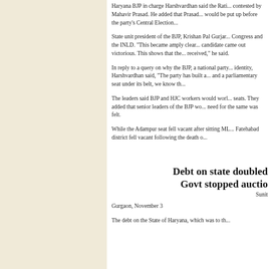Haryana BJP in charge Harshvardhan said the Rati... contested by Mahavir Prasad. He added that Prasad... would be put up before the party's Central Election...
State unit president of the BJP, Krishan Pal Gurjar... Congress and the INLD. "This became amply clear... candidate came out victorious. This shows that the... received," he said.
In reply to a query on why the BJP, a national party... identity, Harshvardhan said, "The party has built a... and a parliamentary seat under its belt, we know th...
The leaders said BJP and HJC workers would worl... seats. They added that senior leaders of the BJP wo... need for the same was felt.
While the Adampur seat fell vacant after sitting ML... Fatehabad district fell vacant following the death o...
Debt on state doubled
Govt stopped auctio
Sunit
Gurgaon, November 3
The debt on the State of Haryana, which was to th...